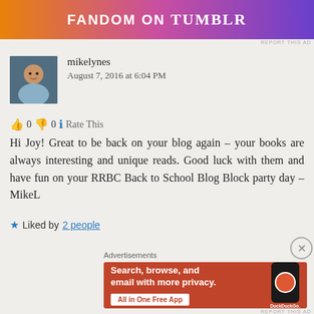[Figure (screenshot): Tumblr Fandom On advertisement banner with colorful gradient background]
mikelynes
August 7, 2016 at 6:04 PM
👍 0 👎 0 ℹ Rate This
Hi Joy! Great to be back on your blog again – your books are always interesting and unique reads. Good luck with them and have fun on your RRBC Back to School Blog Block party day – MikeL
★ Liked by 2 people
Advertisements
[Figure (screenshot): DuckDuckGo advertisement: Search, browse, and email with more privacy. All in One Free App]